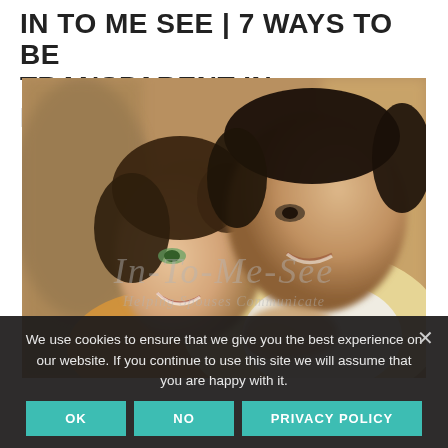IN TO ME SEE | 7 WAYS TO BE TRANSPARENT IN MARRIAGE
[Figure (photo): A smiling couple, woman and man, looking at each other closely; warm tones, blurred background]
We use cookies to ensure that we give you the best experience on our website. If you continue to use this site we will assume that you are happy with it.